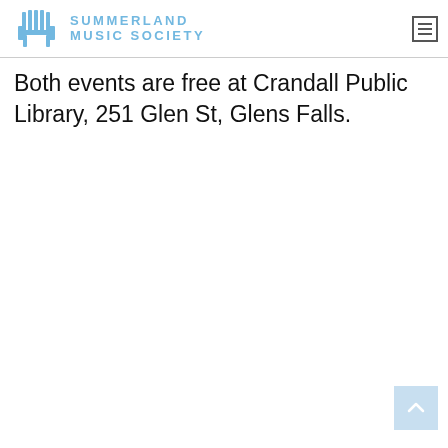SUMMERLAND MUSIC SOCIETY
Both events are free at Crandall Public Library, 251 Glen St, Glens Falls.